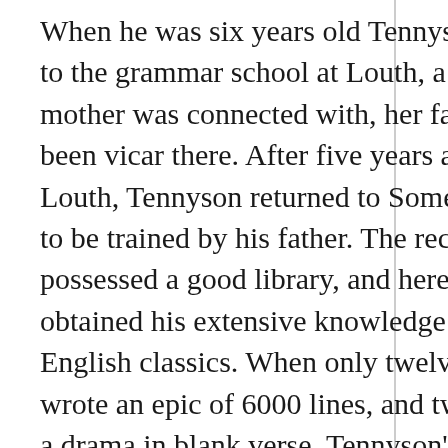When he was six years old Tennyson was sent to the grammar school at Louth, a town his mother was connected with, her father having been vicar there. After five years at school at Louth, Tennyson returned to Somersby Rectory to be trained by his father. The rectory possessed a good library, and here the poet obtained his extensive knowledge of the English classics. When only twelve years old he wrote an epic of 6000 lines, and two years later a drama in blank verse. Tennyson's early knowledge of the sea was obtained at Mablethorpe on the